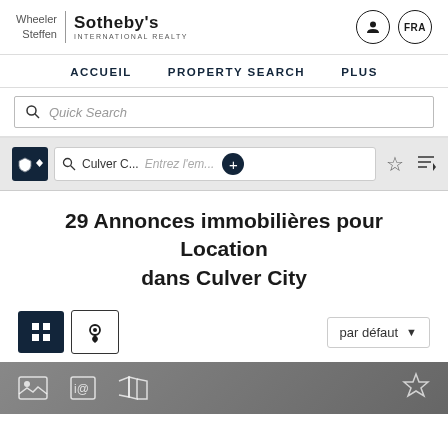Wheeler Steffen | Sotheby's INTERNATIONAL REALTY
ACCUEIL   PROPERTY SEARCH   PLUS
Quick Search
Culver C...   Entrez l'em...
29 Annonces immobilières pour Location dans Culver City
par défaut
[Figure (screenshot): Bottom strip with image/map/listing icons in gray bar]